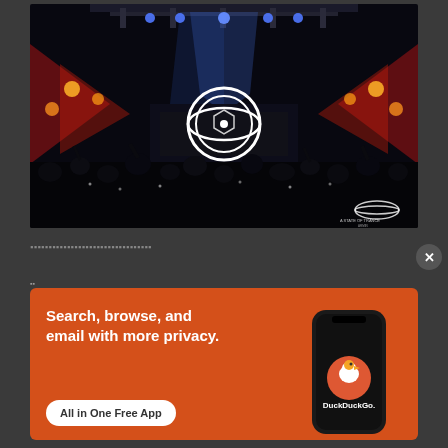[Figure (photo): Concert/club venue photo with dramatic red and blue stage lighting, DJ booth with circular logo display, crowd silhouettes in foreground, with A State of Trance watermark logo in bottom right corner]
▪▪▪▪▪▪▪▪▪▪▪▪▪▪▪▪▪▪▪▪▪▪▪▪▪▪▪▪▪▪▪▪▪
[Figure (infographic): DuckDuckGo advertisement banner with orange background. Text: 'Search, browse, and email with more privacy. All in One Free App' with a smartphone displaying the DuckDuckGo logo and 'DuckDuckGo.' branding]